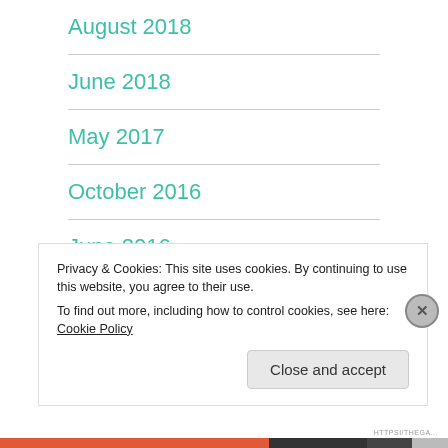August 2018
June 2018
May 2017
October 2016
June 2016
February 2016
Privacy & Cookies: This site uses cookies. By continuing to use this website, you agree to their use.
To find out more, including how to control cookies, see here: Cookie Policy
Close and accept